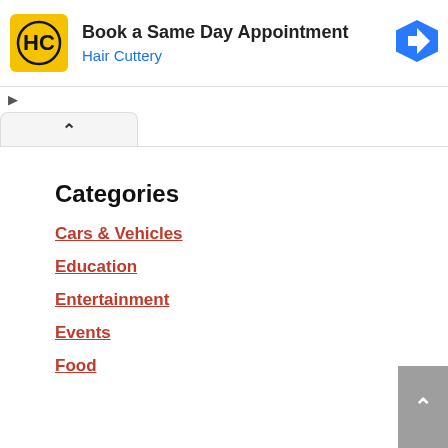[Figure (infographic): Hair Cuttery advertisement banner: yellow square logo with HC initials in black circle, text 'Book a Same Day Appointment' in bold black and 'Hair Cuttery' in blue, blue diamond arrow icon on right. Ad controls (triangle play icon and X) on left below banner.]
^
Categories
Cars & Vehicles
Education
Entertainment
Events
Food